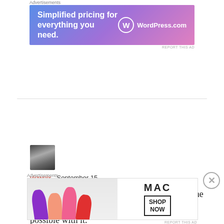[Figure (screenshot): WordPress.com advertisement banner with gradient blue-purple-pink background, text 'Simplified pricing for everything you need.' and WordPress logo on the right]
REPORT THIS AD
[Figure (photo): Small avatar photo of a cat or animal, grayscale/dark tones]
viewpix · September 15
WOW Thank you so much, that you provide the recipe so quickly. I can't wait to try out what is possible with it.
[Figure (screenshot): MAC Cosmetics advertisement banner showing lipsticks in purple, peach, pink, red colors with MAC logo and SHOP NOW button]
REPORT THIS AD